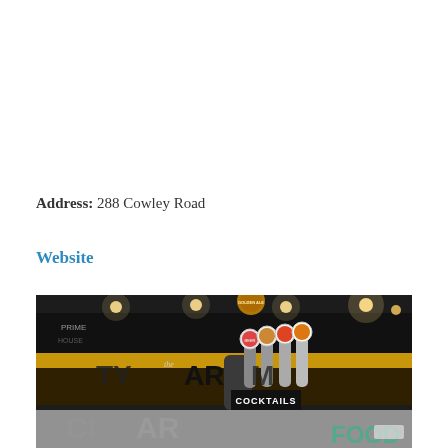Address: 288 Cowley Road
Website
[Figure (photo): Photo of a bar/pub exterior showing beer taps with branded pump clips, warm ceiling lights, dark signage with 'The City Arms' text visible, and a 'COCKTAILS' sign. The bottom portion shows a reflection or second image with 'FOOD' text visible.]